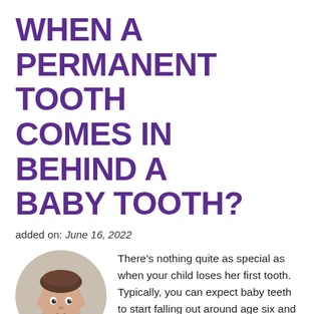WHEN A PERMANENT TOOTH COMES IN BEHIND A BABY TOOTH?
added on: June 16, 2022
[Figure (photo): Circular cropped photo of a baby looking at the camera]
There’s nothing quite as special as when your child loses her first tooth. Typically, you can expect baby teeth to start falling out around age six and permanent adult